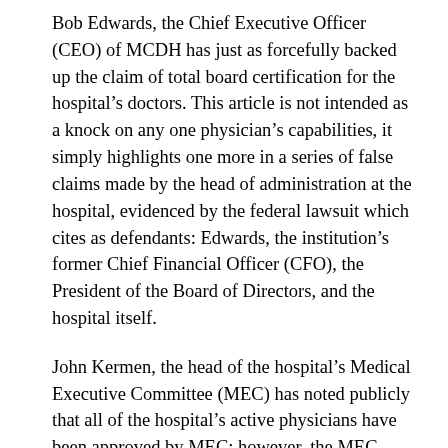Bob Edwards, the Chief Executive Officer (CEO) of MCDH has just as forcefully backed up the claim of total board certification for the hospital's doctors. This article is not intended as a knock on any one physician's capabilities, it simply highlights one more in a series of false claims made by the head of administration at the hospital, evidenced by the federal lawsuit which cites as defendants: Edwards, the institution's former Chief Financial Officer (CFO), the President of the Board of Directors, and the hospital itself.
John Kermen, the head of the hospital's Medical Executive Committee (MEC) has noted publicly that all of the hospital's active physicians have been approved by MEC; however, the MEC standards are not as stringent as the Medical Board of California. Thus the term “board certified” when used in reference to a doctor in this state means that a physician has attained